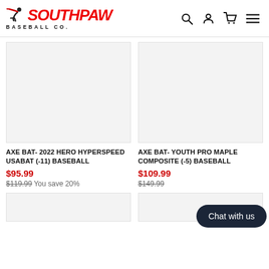SOUTHPAW BASEBALL CO.
[Figure (photo): Product image placeholder for AXE BAT- 2022 HERO HYPERSPEED USABAT (-11) BASEBALL]
AXE BAT- 2022 HERO HYPERSPEED USABAT (-11) BASEBALL
$95.99
$119.99 You save 20%
[Figure (photo): Product image placeholder for AXE BAT- YOUTH PRO MAPLE COMPOSITE (-5) BASEBALL]
AXE BAT- YOUTH PRO MAPLE COMPOSITE (-5) BASEBALL
$109.99
$149.99
Chat with us